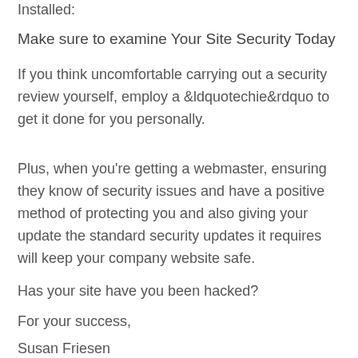Installed:
Make sure to examine Your Site Security Today
If you think uncomfortable carrying out a security review yourself, employ a &ldquotechie&rdquo to get it done for you personally.
Plus, when you’re getting a webmaster, ensuring they know of security issues and have a positive method of protecting you and also giving your update the standard security updates it requires will keep your company website safe.
Has your site have you been hacked?
For your success,
Susan Friesen